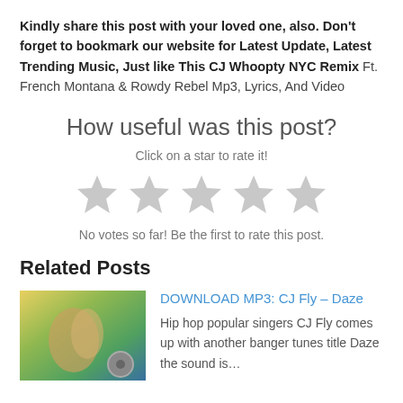Kindly share this post with your loved one, also. Don't forget to bookmark our website for Latest Update, Latest Trending Music, Just like This CJ Whoopty NYC Remix Ft. French Montana & Rowdy Rebel Mp3, Lyrics, And Video
How useful was this post?
Click on a star to rate it!
[Figure (illustration): Five empty/unfilled star icons for rating]
No votes so far! Be the first to rate this post.
Related Posts
[Figure (photo): Thumbnail image with blurred colorful background and a circular icon overlay]
DOWNLOAD MP3: CJ Fly – Daze
Hip hop popular singers CJ Fly comes up with another banger tunes title Daze the sound is…